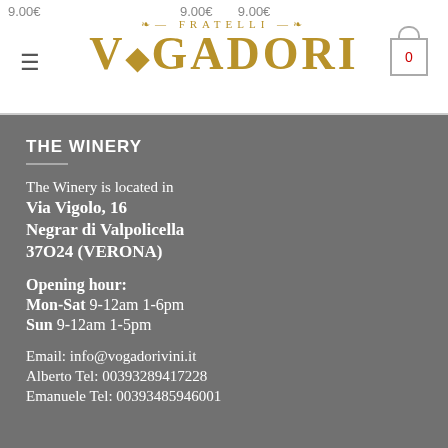Fratelli Vogadori
THE WINERY
The Winery is located in
Via Vigolo, 16
Negrar di Valpolicella
37O24 (VERONA)
Opening hour:
Mon-Sat 9-12am 1-6pm
Sun 9-12am 1-5pm
Email: info@vogadorivini.it
Alberto Tel: 00393289417228
Emanuele Tel: 00393485946001